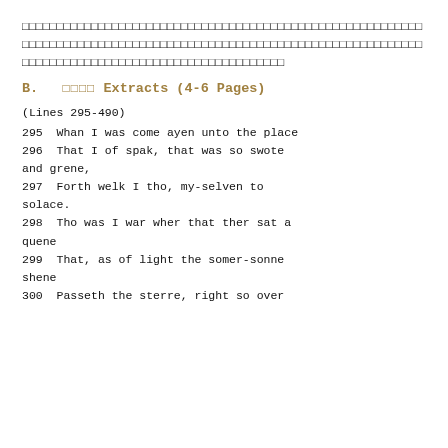□□□□□□□□□□□□□□□□□□□□□□□□□□□□□□□□□□□□□□□□□□□□□□□□□□□□□□□□□□□□□□□□□□□□□□□□□□□□□□□□□□□□□□□□□□□□□□□□□□□□□□□□□□□
B.   □□□□ Extracts (4-6 Pages)
(Lines 295-490)
295  Whan I was come ayen unto the place
296  That I of spak, that was so swote and grene,
297  Forth welk I tho, my-selven to solace.
298  Tho was I war wher that ther sat a quene
299  That, as of light the somer-sonne shene
300  Passeth the sterre, right so over